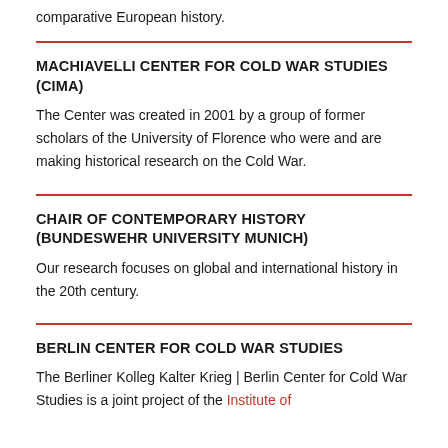comparative European history.
MACHIAVELLI CENTER FOR COLD WAR STUDIES (CIMA)
The Center was created in 2001 by a group of former scholars of the University of Florence who were and are making historical research on the Cold War.
CHAIR OF CONTEMPORARY HISTORY (BUNDESWEHR UNIVERSITY MUNICH)
Our research focuses on global and international history in the 20th century.
BERLIN CENTER FOR COLD WAR STUDIES
The Berliner Kolleg Kalter Krieg | Berlin Center for Cold War Studies is a joint project of the Institute of